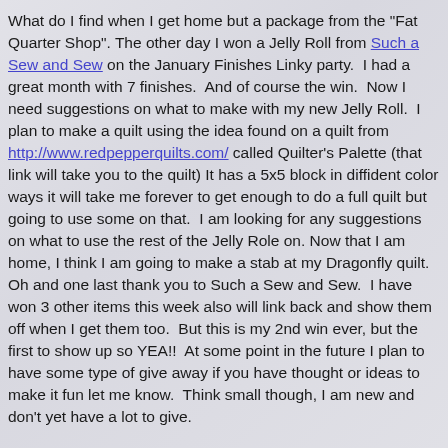What do I find when I get home but a package from the "Fat Quarter Shop". The other day I won a Jelly Roll from Such a Sew and Sew on the January Finishes Linky party. I had a great month with 7 finishes. And of course the win. Now I need suggestions on what to make with my new Jelly Roll. I plan to make a quilt using the idea found on a quilt from http://www.redpepperquilts.com/ called Quilter's Palette (that link will take you to the quilt) It has a 5x5 block in diffident color ways it will take me forever to get enough to do a full quilt but going to use some on that. I am looking for any suggestions on what to use the rest of the Jelly Role on. Now that I am home, I think I am going to make a stab at my Dragonfly quilt. Oh and one last thank you to Such a Sew and Sew. I have won 3 other items this week also will link back and show them off when I get them too. But this is my 2nd win ever, but the first to show up so YEA!! At some point in the future I plan to have some type of give away if you have thought or ideas to make it fun let me know. Think small though, I am new and don't yet have a lot to give.